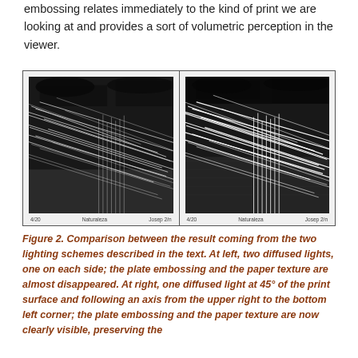embossing relates immediately to the kind of print we are looking at and provides a sort of volumetric perception in the viewer.
[Figure (photo): Side-by-side comparison of two photographic prints of an etching/drawing showing white scratch lines on dark background. Left image: two diffused lights, one on each side — plate embossing and paper texture almost disappeared. Right image: one diffused light at 45° of the print surface along axis from upper right to bottom left corner — plate embossing and paper texture clearly visible.]
Figure 2. Comparison between the result coming from the two lighting schemes described in the text. At left, two diffused lights, one on each side; the plate embossing and the paper texture are almost disappeared. At right, one diffused light at 45° of the print surface and following an axis from the upper right to the bottom left corner; the plate embossing and the paper texture are now clearly visible, preserving the